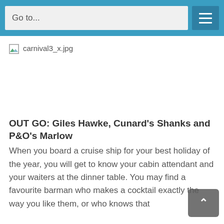Go to...
[Figure (other): Broken image placeholder showing filename carnival3_x.jpg]
OUT GO: Giles Hawke, Cunard's Shanks and P&O's Marlow
When you board a cruise ship for your best holiday of the year, you will get to know your cabin attendant and your waiters at the dinner table. You may find a favourite barman who makes a cocktail exactly the way you like them, or who knows that